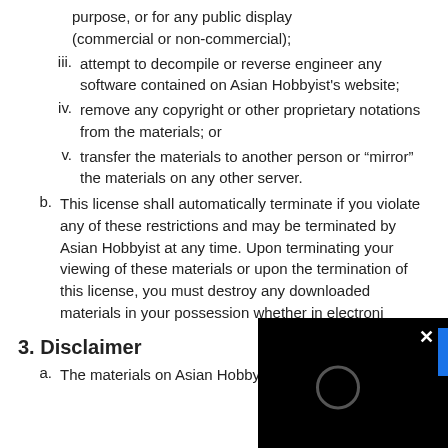purpose, or for any public display (commercial or non-commercial);
iii. attempt to decompile or reverse engineer any software contained on Asian Hobbyist's website;
iv. remove any copyright or other proprietary notations from the materials; or
v. transfer the materials to another person or “mirror” the materials on any other server.
b. This license shall automatically terminate if you violate any of these restrictions and may be terminated by Asian Hobbyist at any time. Upon terminating your viewing of these materials or upon the termination of this license, you must destroy any downloaded materials in your possession whether in electroni
3. Disclaimer
a. The materials on Asian Hobbyi…